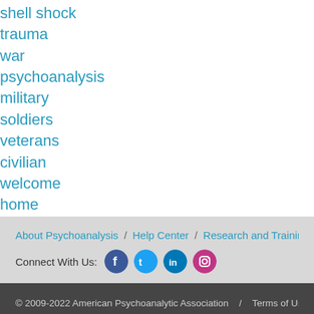shell shock
trauma
war
psychoanalysis
military
soldiers
veterans
civilian
welcome
home
About Psychoanalysis / Help Center / Research and Training / Meeting
Connect With Us:
© 2009-2022 American Psychoanalytic Association / Terms of Use / 309 East 49th Street, New York, NY 10017 | Phone: (212) 752-0450 | info@apsa